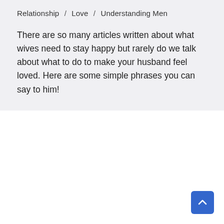Relationship / Love / Understanding Men
There are so many articles written about what wives need to stay happy but rarely do we talk about what to do to make your husband feel loved. Here are some simple phrases you can say to him!